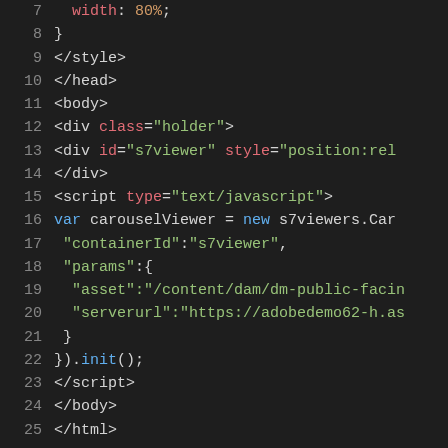[Figure (screenshot): Code editor screenshot showing HTML/JavaScript code with syntax highlighting on dark background. Lines 7-25 are visible. Colors: red/orange for attributes, green for string values, white/gray for tags and brackets.]